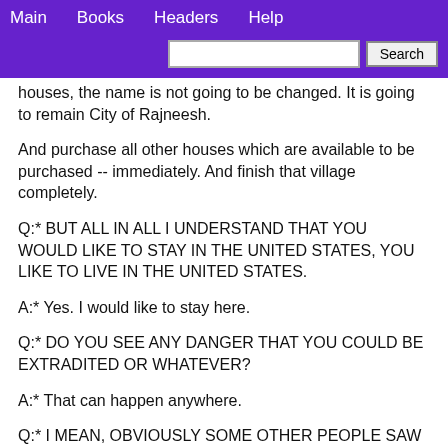Main  Books  Headers  Help
houses, the name is not going to be changed. It is going to remain City of Rajneesh.
And purchase all other houses which are available to be purchased -- immediately. And finish that village completely.
Q:* BUT ALL IN ALL I UNDERSTAND THAT YOU WOULD LIKE TO STAY IN THE UNITED STATES, YOU LIKE TO LIVE IN THE UNITED STATES.
A:* Yes. I would like to stay here.
Q:* DO YOU SEE ANY DANGER THAT YOU COULD BE EXTRADITED OR WHATEVER?
A:* That can happen anywhere.
Q:* I MEAN, OBVIOUSLY SOME OTHER PEOPLE SAW THIS DANGER, BECAUSE YOUR SWISS BANK ACCOUNT.
A:* It can happen anywhere. A person like me lives